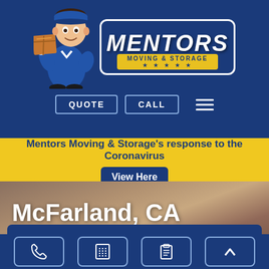[Figure (logo): Mentors Moving & Storage logo with mascot character carrying a box]
QUOTE   CALL   ≡
Mentors Moving & Storage's response to the Coronavirus   View Here
McFarland, CA Movers
REQUEST A QUOTE
[Figure (infographic): Bottom navigation bar with phone, calculator, clipboard, and up-arrow icons]